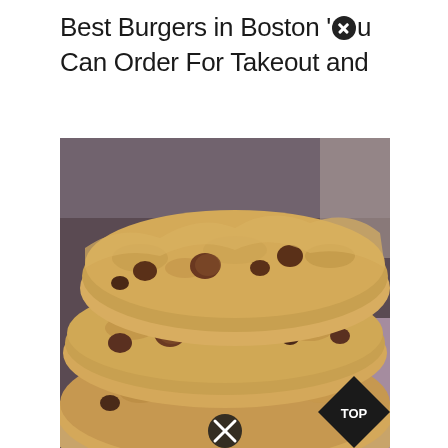Best Burgers in Boston You Can Order For Takeout and
[Figure (photo): Close-up photo of a stack of chocolate chip cookies piled on top of each other, with chocolate chips visible throughout the golden-brown cookies. A black diamond-shaped 'TOP' badge is visible in the bottom-right corner, and a circular close/X button appears at the bottom center of the image.]